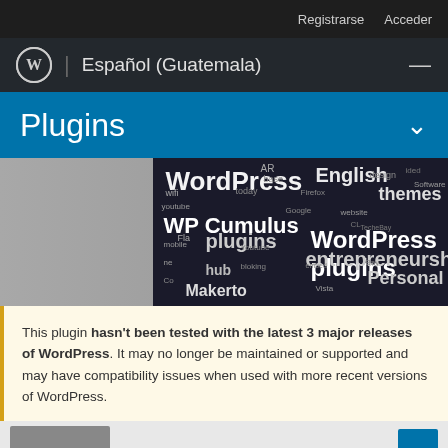Registrarse   Acceder
Español (Guatemala)
Plugins
[Figure (other): Word cloud image showing WordPress-related terms including WordPress, English, themes, WP Cumulus, plugins, WordPress plugins, entrepreneurship, hub, Personal, Makento, Flash, youtube, design, Software, mobile, etc.]
This plugin hasn't been tested with the latest 3 major releases of WordPress. It may no longer be maintained or supported and may have compatibility issues when used with more recent versions of WordPress.